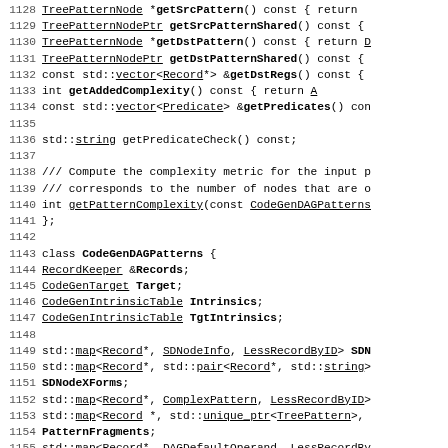Source code listing, lines 1128-1157, showing C++ class definitions for TreePattern and CodeGenDAGPatterns.